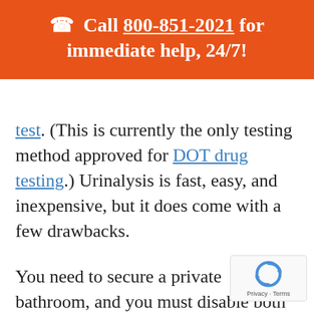📞 Call 800-851-2021 for immediate help, 24/7!
test. (This is currently the only testing method approved for DOT drug testing.) Urinalysis is fast, easy, and inexpensive, but it does come with a few drawbacks.
You need to secure a private bathroom, and you must disable both the sink and toilet, and place a bluing agent the water in the toilet bowl. Privacy